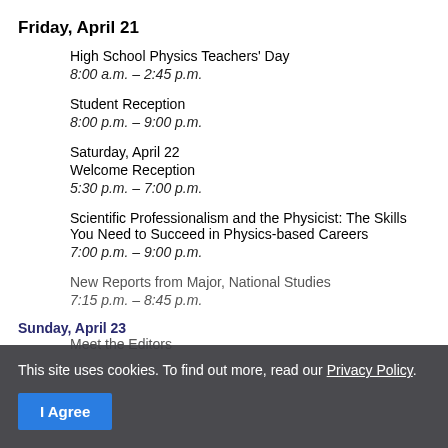Friday, April 21
High School Physics Teachers' Day
8:00 a.m. – 2:45 p.m.
Student Reception
8:00 p.m. – 9:00 p.m.
Saturday, April 22
Welcome Reception
5:30 p.m. – 7:00 p.m.
Scientific Professionalism and the Physicist: The Skills You Need to Succeed in Physics-based Careers
7:00 p.m. – 9:00 p.m.
New Reports from Major, National Studies
7:15 p.m. – 8:45 p.m.
Sunday, April 23
Meet the Editors
This site uses cookies. To find out more, read our Privacy Policy.